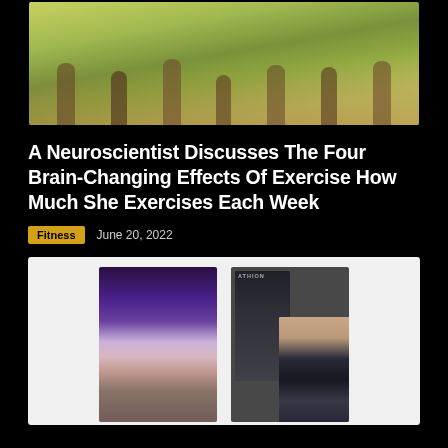[Figure (photo): Group of people running outdoors on grass, viewed from below waist level, sunny day]
A Neuroscientist Discusses The Four Brain-Changing Effects Of Exercise How Much She Exercises Each Week
Fitness   June 20, 2022
[Figure (photo): Two photos side by side: left shows a woman in leopard print top on stage; right shows a woman exercising in a gym with weights equipment]